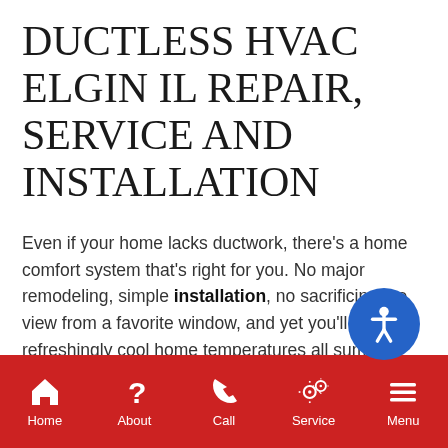DUCTLESS HVAC ELGIN IL REPAIR, SERVICE AND INSTALLATION
Even if your home lacks ductwork, there's a home comfort system that's right for you. No major remodeling, simple installation, no sacrificing the view from a favorite window, and yet you'll enjoy refreshingly cool home temperatures all summer long.
Home | About | Call | Service | Menu